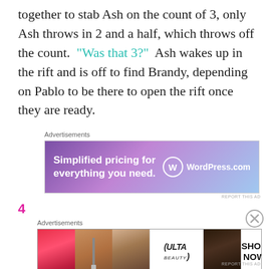together to stab Ash on the count of 3, only Ash throws in 2 and a half, which throws off the count. "Was that 3?" Ash wakes up in the rift and is off to find Brandy, depending on Pablo to be there to open the rift once they are ready.
Advertisements
[Figure (screenshot): WordPress.com advertisement banner with purple/pink gradient background. Text reads 'Simplified pricing for everything you need.' with WordPress.com logo on the right.]
REPORT THIS AD
4
[Figure (illustration): Close button (X in circle) top right corner]
Advertisements
[Figure (screenshot): ULTA Beauty advertisement banner showing beauty product images (lips, makeup brush, eye, ULTA logo, eyes) and a SHOP NOW button.]
REPORT THIS AD